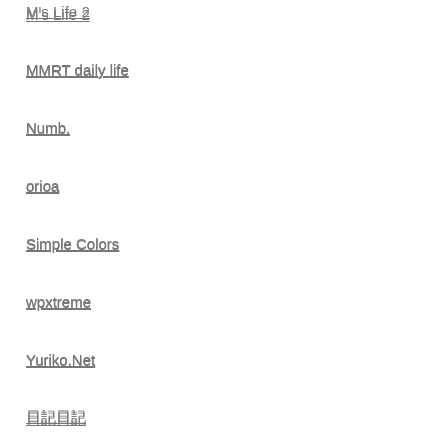M's Life 2
MMRT daily life
Numb.
orioa
Simple Colors
wpxtreme
Yuriko.Net
日記日記
日々日々.com
広告
gaspanik weblog
日記日記日記
日々日記
FACEBOOK